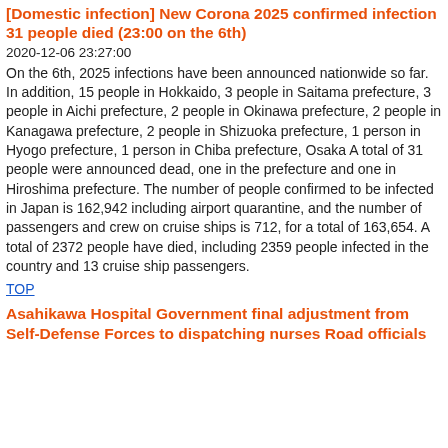[Domestic infection] New Corona 2025 confirmed infection 31 people died (23:00 on the 6th)
2020-12-06 23:27:00
On the 6th, 2025 infections have been announced nationwide so far. In addition, 15 people in Hokkaido, 3 people in Saitama prefecture, 3 people in Aichi prefecture, 2 people in Okinawa prefecture, 2 people in Kanagawa prefecture, 2 people in Shizuoka prefecture, 1 person in Hyogo prefecture, 1 person in Chiba prefecture, Osaka A total of 31 people were announced dead, one in the prefecture and one in Hiroshima prefecture. The number of people confirmed to be infected in Japan is 162,942 including airport quarantine, and the number of passengers and crew on cruise ships is 712, for a total of 163,654. A total of 2372 people have died, including 2359 people infected in the country and 13 cruise ship passengers.
TOP
Asahikawa Hospital Government final adjustment from Self-Defense Forces to dispatching nurses Road officials